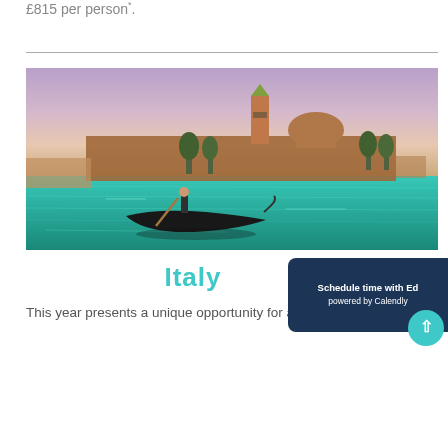£815 per person*.
[Figure (photo): Photograph of a gondolier rowing a gondola on the turquoise water of the Venice lagoon, with the island of San Giorgio Maggiore and its distinctive bell tower visible in the background under a dramatic purple-pink sunset sky.]
Italy
This year presents a unique opportunity for an